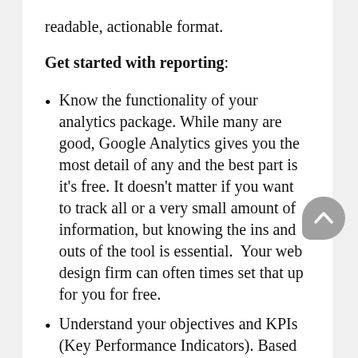readable, actionable format.
Get started with reporting:
Know the functionality of your analytics package. While many are good, Google Analytics gives you the most detail of any and the best part is it's free. It doesn't matter if you want to track all or a very small amount of information, but knowing the ins and outs of the tool is essential.  Your web design firm can often times set that up for you for free.
Understand your objectives and KPIs (Key Performance Indicators). Based on your strategy, you should define objectives and KPIs. Each objective